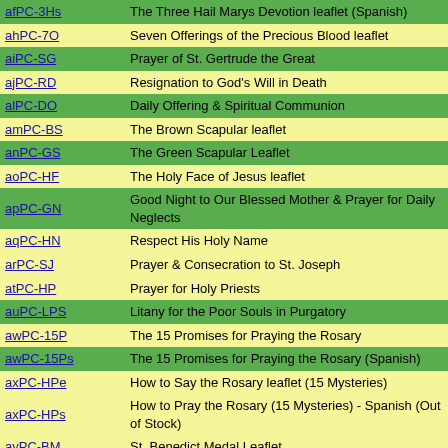| Code | Description |
| --- | --- |
| afPC-3Hs | The Three Hail Marys Devotion leaflet (Spanish) |
| ahPC-7O | Seven Offerings of the Precious Blood leaflet |
| aiPC-SG | Prayer of St. Gertrude the Great |
| ajPC-RD | Resignation to God's Will in Death |
| alPC-DO | Daily Offering & Spiritual Communion |
| amPC-BS | The Brown Scapular leaflet |
| anPC-GS | The Green Scapular Leaflet |
| aoPC-HF | The Holy Face of Jesus leaflet |
| apPC-GN | Good Night to Our Blessed Mother & Prayer for Daily Neglects |
| aqPC-HN | Respect His Holy Name |
| arPC-SJ | Prayer & Consecration to St. Joseph |
| atPC-HP | Prayer for Holy Priests |
| auPC-LPS | Litany for the Poor Souls in Purgatory |
| awPC-15P | The 15 Promises for Praying the Rosary |
| awPC-15Ps | The 15 Promises for Praying the Rosary (Spanish) |
| axPC-HPe | How to Say the Rosary leaflet (15 Mysteries) |
| axPC-HPs | How to Pray the Rosary (15 Mysteries) - Spanish (Out of Stock) |
| ayPC-BM | St. Benedict Medal Leaflet |
| cPB | Prayer Books & Catechism |
| cPB-aFP | Favorite Prayers to St. Joseph (Out of Stock)) |
| cPB-fPC | The Penny Catechism (Out of Stock) |
| eLO | Our Lord |
| eLO-iSH | Enthronement of the Sacred Heart - brochure |